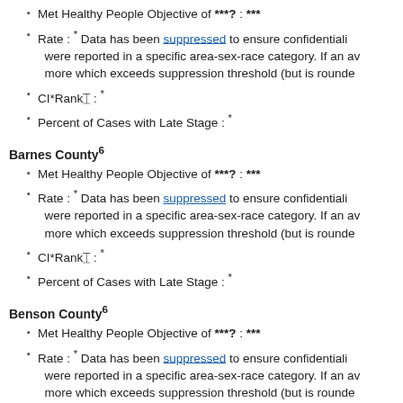Met Healthy People Objective of ***?: ***
Rate : * Data has been suppressed to ensure confidentiality were reported in a specific area-sex-race category. If an av more which exceeds suppression threshold (but is rounde
CI*Rank⋔ : *
Percent of Cases with Late Stage : *
Barnes County⁶
Met Healthy People Objective of ***?: ***
Rate : * Data has been suppressed to ensure confidentiality were reported in a specific area-sex-race category. If an av more which exceeds suppression threshold (but is rounde
CI*Rank⋔ : *
Percent of Cases with Late Stage : *
Benson County⁶
Met Healthy People Objective of ***?: ***
Rate : * Data has been suppressed to ensure confidentiality were reported in a specific area-sex-race category. If an av more which exceeds suppression threshold (but is rounde
CI*Rank⋔ : *